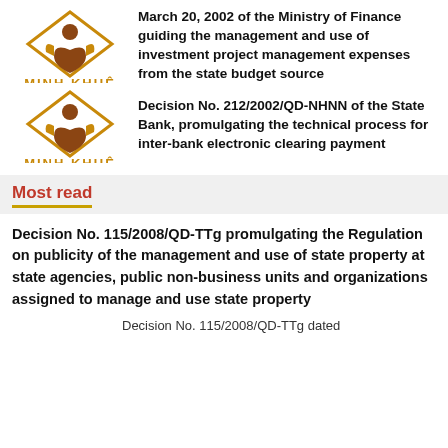[Figure (logo): Minh Khue law firm logo - diamond shape with figure inside, text MINH KHUE below]
March 20, 2002 of the Ministry of Finance guiding the management and use of investment project management expenses from the state budget source
[Figure (logo): Minh Khue law firm logo - diamond shape with figure inside, text MINH KHUE below]
Decision No. 212/2002/QD-NHNN of the State Bank, promulgating the technical process for inter-bank electronic clearing payment
Most read
Decision No. 115/2008/QD-TTg promulgating the Regulation on publicity of the management and use of state property at state agencies, public non-business units and organizations assigned to manage and use state property
Decision No. 115/2008/QD-TTg dated